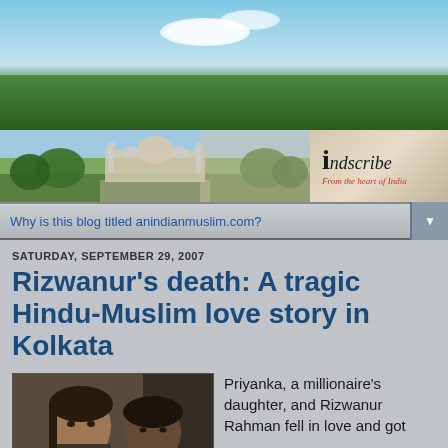[Figure (photo): Header banner with blue sky, white clouds, and green landscape/trees]
[Figure (photo): Taj Mahal landscape strip with logo: 'indscribe - From the heart of India']
Why is this blog titled anindianmuslim.com?
SATURDAY, SEPTEMBER 29, 2007
Rizwanur's death: A tragic Hindu-Muslim love story in Kolkata
[Figure (photo): Photo of a woman (Priyanka) and a man (Rizwanur Rahman) together]
Priyanka, a millionaire's daughter, and Rizwanur Rahman fell in love and got